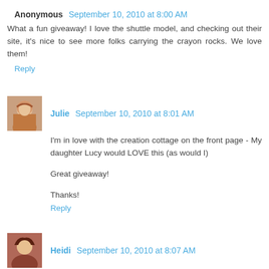Anonymous September 10, 2010 at 8:00 AM
What a fun giveaway! I love the shuttle model, and checking out their site, it's nice to see more folks carrying the crayon rocks. We love them!
Reply
Julie September 10, 2010 at 8:01 AM
I'm in love with the creation cottage on the front page - My daughter Lucy would LOVE this (as would I)

Great giveaway!

Thanks!
Reply
Heidi September 10, 2010 at 8:07 AM
I couldn't see what was coming soon but I did see that they